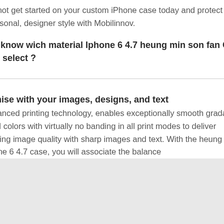So why not get started on your custom iPhone case today and protect it in your own, personal, designer style with Mobilinnov.
How to know wich material Iphone 6 4.7 heung min son fan Case i need to select ?
Customise with your images, designs, and text
Our advanced printing technology, enables exceptionally smooth gradations and solid colors with virtually no banding in all print modes to deliver outstanding image quality with sharp images and text. With the heung min son fan Iphone 6 4.7 case, you will associate the balance